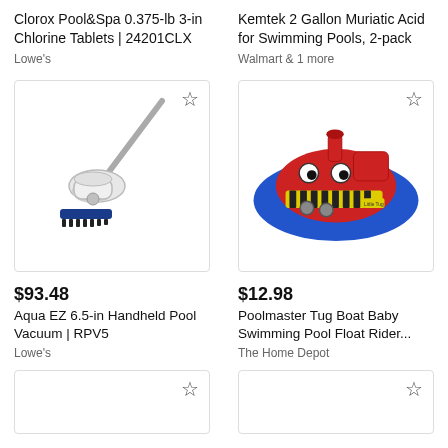Clorox Pool&Spa 0.375-lb 3-in Chlorine Tablets | 24201CLX
Kemtek 2 Gallon Muriatic Acid for Swimming Pools, 2-pack
Lowe's
Walmart & 1 more
[Figure (photo): Aqua EZ 6.5-in Handheld Pool Vacuum product photo]
[Figure (photo): Poolmaster Tug Boat Baby Swimming Pool Float Rider product photo]
$93.48
Aqua EZ 6.5-in Handheld Pool Vacuum | RPV5
Lowe's
$12.98
Poolmaster Tug Boat Baby Swimming Pool Float Rider...
The Home Depot